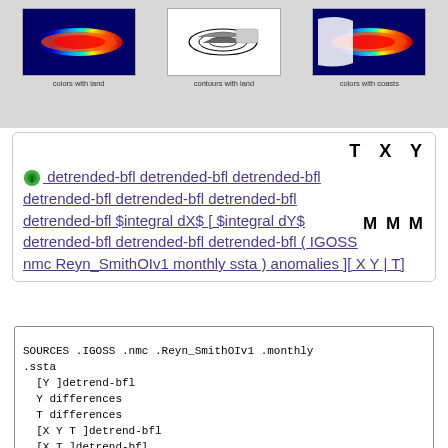[Figure (other): Three map panels showing ocean data: 'colors with land', 'contours with land', 'colors with coasts']
T X Y
detrended-bfl detrended-bfl detrended-bfl detrended-bfl detrended-bfl detrended-bfl detrended-bfl $integral dX$ [ $integral dY$ detrended-bfl detrended-bfl detrended-bfl ( IGOSS nmc Reyn_SmithOIv1 monthly ssta ) anomalies ][ X Y | T]
M M M
SOURCES .IGOSS .nmc .Reyn_SmithOIv1 .monthly
.ssta
  [Y ]detrend-bfl
  Y differences
  T differences
  [X Y T ]detrend-bfl
  [X T ]detrend-bfl
  Y integral
  yearly-anomalies
  X integral
  [X Y ]detrend-bfl